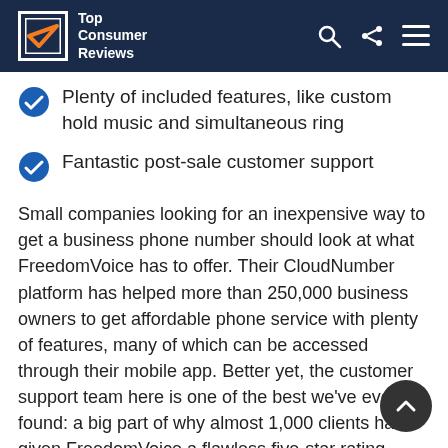Top Consumer Reviews
Plenty of included features, like custom hold music and simultaneous ring
Fantastic post-sale customer support
Small companies looking for an inexpensive way to get a business phone number should look at what FreedomVoice has to offer. Their CloudNumber platform has helped more than 250,000 business owners to get affordable phone service with plenty of features, many of which can be accessed through their mobile app. Better yet, the customer support team here is one of the best we've ever found: a big part of why almost 1,000 clients have given FreedomVoice a flawless five-star rating.